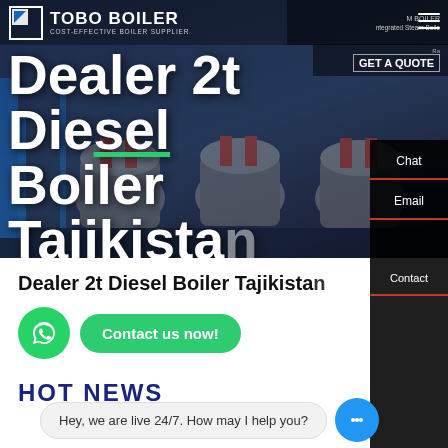[Figure (screenshot): Tobo Boiler website hero banner showing industrial boiler machinery in a dark blue background with navigation bar, logo, and hamburger menu]
Dealer 2t Diesel Boiler Tajikistan
Chat
Email
Contact
Dealer 2t Diesel Boiler Tajikistan
Contact us now!
HOT NEWS
Hey, we are live 24/7. How may I help you?